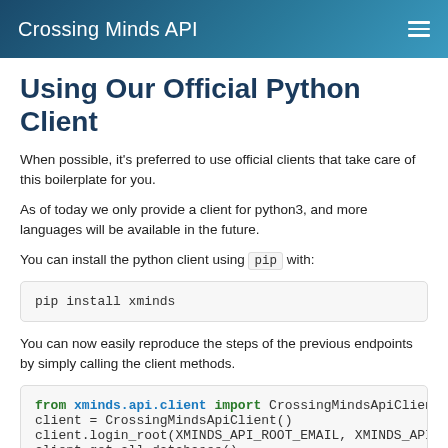Crossing Minds API
Using Our Official Python Client
When possible, it's preferred to use official clients that take care of this boilerplate for you.
As of today we only provide a client for python3, and more languages will be available in the future.
You can install the python client using pip with:
pip install xminds
You can now easily reproduce the steps of the previous endpoints by simply calling the client methods.
from xminds.api.client import CrosssingMindsApiClient
client = CrossingMindsApiClient()
client.login_root(XMINDS_API_ROOT_EMAIL, XMINDS_API
client.get_all_databases()